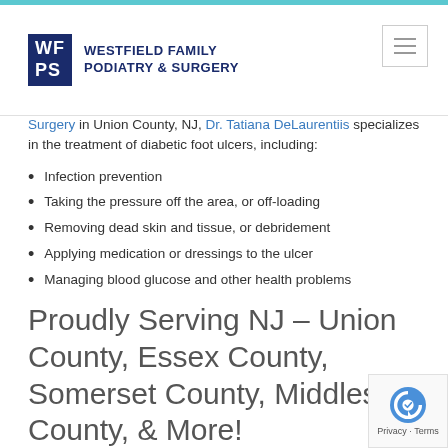WESTFIELD FAMILY PODIATRY & SURGERY
Surgery in Union County, NJ, Dr. Tatiana DeLaurentiis specializes in the treatment of diabetic foot ulcers, including:
Infection prevention
Taking the pressure off the area, or off-loading
Removing dead skin and tissue, or debridement
Applying medication or dressings to the ulcer
Managing blood glucose and other health problems
Proudly Serving NJ – Union County, Essex County, Somerset County, Middlesex County, & More!
Request an appointment with Dr. DeLaurentiis today to get the diabetic foot care you deserve.